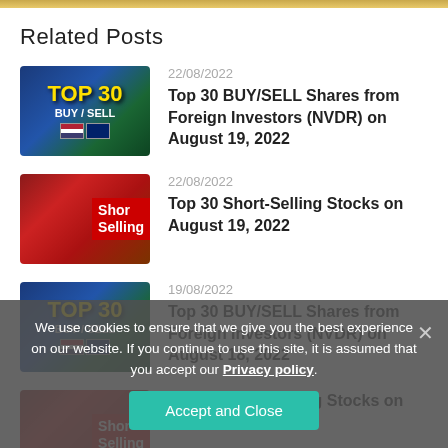Related Posts
[Figure (photo): Thumbnail image for Top 30 BUY/SELL shares post, showing stock market graphic with TOP 30 BUY/SELL text in yellow]
22/08/2022
Top 30 BUY/SELL Shares from Foreign Investors (NVDR) on August 19, 2022
[Figure (photo): Thumbnail image for Short-Selling Stocks post, showing dollar bills with Short Selling label]
22/08/2022
Top 30 Short-Selling Stocks on August 19, 2022
[Figure (photo): Thumbnail image for Top 30 BUY/SELL shares post (second instance), showing stock market graphic]
19/08/2022
Top 30 BUY/SELL Shares from Foreign Investors (NVDR) on August 18, 2022
[Figure (photo): Thumbnail image for Short-Selling Stocks post (second instance)]
Top 30 Short-Selling Stocks on
We use cookies to ensure that we give you the best experience on our website. If you continue to use this site, it is assumed that you accept our Privacy policy.